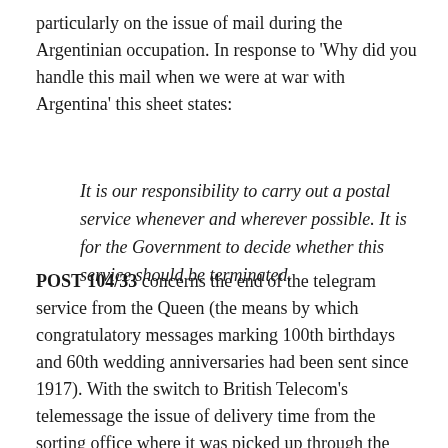particularly on the issue of mail during the Argentinian occupation. In response to 'Why did you handle this mail when we were at war with Argentina' this sheet states:
It is our responsibility to carry out a postal service whenever and wherever possible. It is for the Government to decide whether this service should be terminated.
POST 104/33 concerns the end of the telegram service from the Queen (the means by which congratulatory messages marking 100th birthdays and 60th wedding anniversaries had been sent since 1917). With the switch to British Telecom's telemessage the issue of delivery time from the sorting office where it was picked up through the post to the recipient